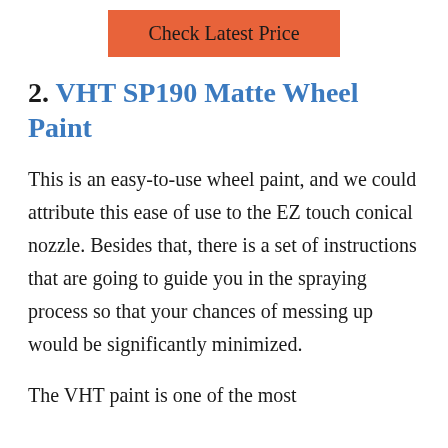[Figure (other): Orange button with text 'Check Latest Price']
2. VHT SP190 Matte Wheel Paint
This is an easy-to-use wheel paint, and we could attribute this ease of use to the EZ touch conical nozzle. Besides that, there is a set of instructions that are going to guide you in the spraying process so that your chances of messing up would be significantly minimized.
The VHT paint is one of the most...